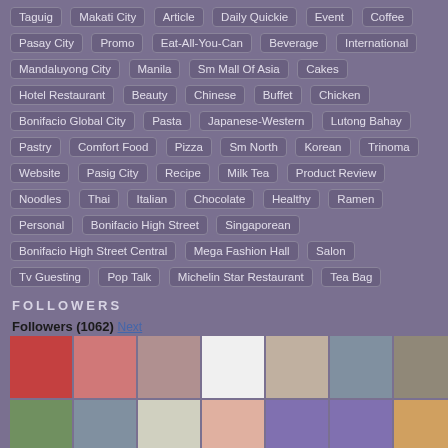Taguig, Makati City, Article, Daily Quickie, Event, Coffee, Pasay City, Promo, Eat-All-You-Can, Beverage, International, Mandaluyong City, Manila, Sm Mall Of Asia, Cakes, Hotel Restaurant, Beauty, Chinese, Buffet, Chicken, Bonifacio Global City, Pasta, Japanese-Western, Lutong Bahay, Pastry, Comfort Food, Pizza, Sm North, Korean, Trinoma, Website, Pasig City, Recipe, Milk Tea, Product Review, Noodles, Thai, Italian, Chocolate, Healthy, Ramen, Personal, Bonifacio High Street, Singaporean, Bonifacio High Street Central, Mega Fashion Hall, Salon, Tv Guesting, Pop Talk, Michelin Star Restaurant, Tea Bag
FOLLOWERS
Followers (1062) Next
[Figure (photo): Grid of follower avatar photos, two rows of approximately 11 avatars each]